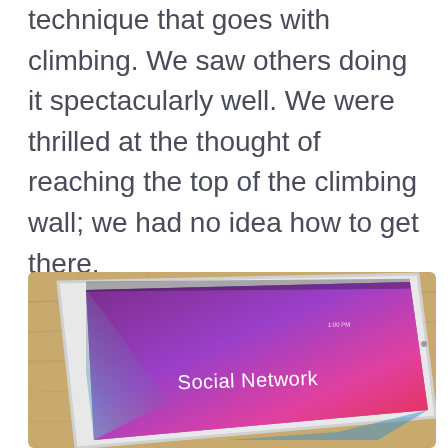technique that goes with climbing. We saw others doing it spectacularly well. We were thrilled at the thought of reaching the top of the climbing wall; we had no idea how to get there.
[Figure (photo): A tablet (iPad) lying on a wooden surface, angled view, with a colorful purple and pink screen displaying 'Social Network' text]